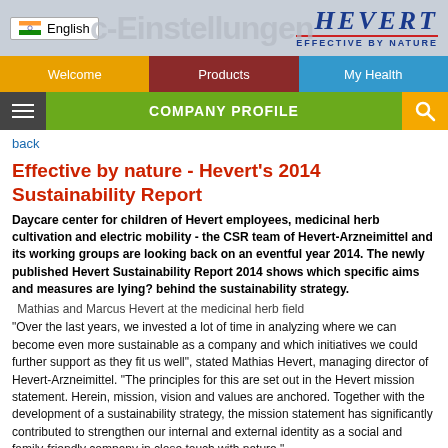[Figure (logo): Hevert logo with 'EFFECTIVE BY NATURE' tagline, blue gothic text with red underline, on grey header background with language selector and faded background text 'c-Einstellungen']
Welcome | Products | My Health
COMPANY PROFILE
back
Effective by nature - Hevert's 2014 Sustainability Report
Daycare center for children of Hevert employees, medicinal herb cultivation and electric mobility - the CSR team of Hevert-Arzneimittel and its working groups are looking back on an eventful year 2014. The newly published Hevert Sustainability Report 2014 shows which specific aims and measures are lying? behind the sustainability strategy.
Mathias and Marcus Hevert at the medicinal herb field
"Over the last years, we invested a lot of time in analyzing where we can become even more sustainable as a company and which initiatives we could further support as they fit us well", stated Mathias Hevert, managing director of Hevert-Arzneimittel. "The principles for this are set out in the Hevert mission statement. Herein, mission, vision and values are anchored. Together with the development of a sustainability strategy, the mission statement has significantly contributed to strengthen our internal and external identity as a social and family-friendly company in close touch with nature."
Corporate social responsibility (CSR) stands for responsible corporate action. Through this, the family business makes a voluntary contribution to sustainable